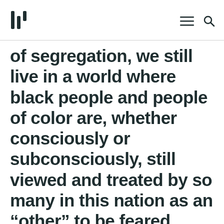[Logo] [hamburger menu] [search icon]
of segregation, we still live in a world where black people and people of color are, whether consciously or subconsciously, still viewed and treated by so many in this nation as an “other” to be feared.
At a time when we as a human race should unite the most, with each passing day, many black people live in fear of the next headline in which we